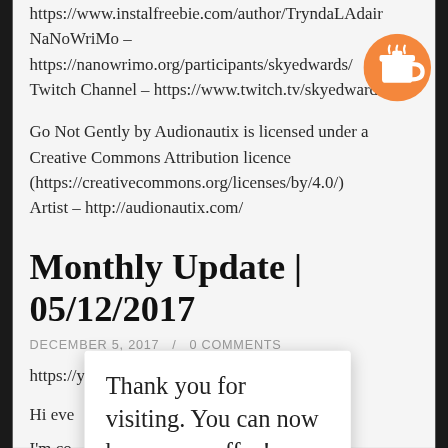https://www.instalfreebie.com/author/TryndaLAdair
NaNoWriMo – https://nanowrimo.org/participants/skyedwards/
Twitch Channel – https://www.twitch.tv/skyedwards
Go Not Gently by Audionautix is licensed under a Creative Commons Attribution licence (https://creativecommons.org/licenses/by/4.0/)
Artist – http://audionautix.com/
Monthly Update | 05/12/2017
DECEMBER 5, 2017 / 0 COMMENTS
https://youtu.be/tK-YRIXYa9A
Hi eve
I'm co... e fro outside was gonna shoot inside but then I realized that there was
Thank you for visiting. You can now buy me a coffee!